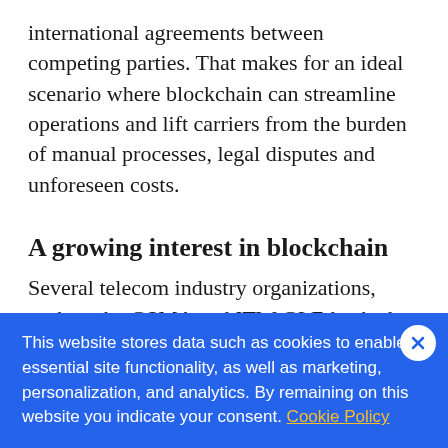international agreements between competing parties. That makes for an ideal scenario where blockchain can streamline operations and lift carriers from the burden of manual processes, legal disputes and unforeseen costs.
A growing interest in blockchain
Several telecom industry organizations, such as the GSMA and ITW GLF-backed Communication Blockchain Network, are showing interest in blockchain as the solution of choice for the management of
This website stores data such as cookies to enable essential site functionality, as well as marketing, personalization, and analytics. By remaining on this website you indicate your consent. Cookie Policy